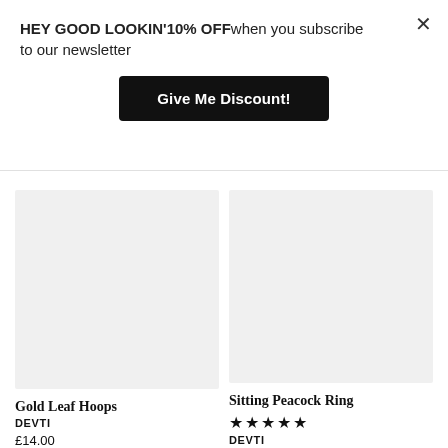HEY GOOD LOOKIN’10% OFFwhen you subscribe to our newsletter
Give Me Discount!
[Figure (other): Gray placeholder image for Gold Leaf Hoops product]
Gold Leaf Hoops
DEVTI
£14.00
[Figure (other): Gray placeholder image for Sitting Peacock Ring product]
Sitting Peacock Ring
★★★★★
DEVTI